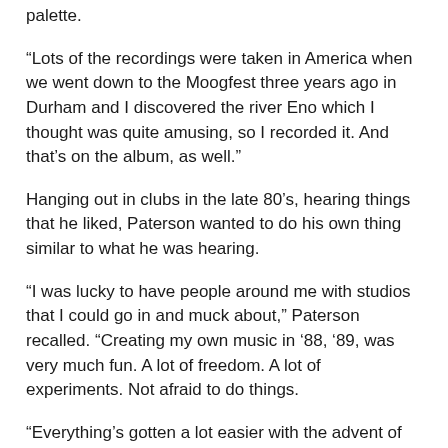palette.
“Lots of the recordings were taken in America when we went down to the Moogfest three years ago in Durham and I discovered the river Eno which I thought was quite amusing, so I recorded it. And that’s on the album, as well.”
Hanging out in clubs in the late 80’s, hearing things that he liked, Paterson wanted to do his own thing similar to what he was hearing.
“I was lucky to have people around me with studios that I could go in and muck about,” Paterson recalled. “Creating my own music in ‘88, ‘89, was very much fun. A lot of freedom. A lot of experiments. Not afraid to do things.
“Everything’s gotten a lot easier with the advent of mass production of computers. It takes away a lot of the studio costs, which is quite good, really. Because you can spend a lot of time in the studio doing this thing.